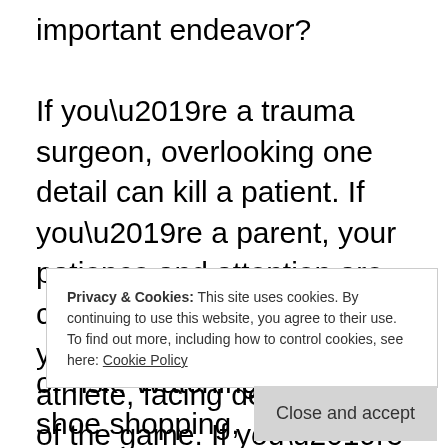important endeavor? If you’re a trauma surgeon, overlooking one detail can kill a patient. If you’re a parent, your patience and attention are constantly tested. If you’re a competitive athlete, facing defeat is part of the game. If you’re a US Army Ranger, your whole job is about navigating danger. Even if you’re practicing yoga or meditation,
Privacy & Cookies: This site uses cookies. By continuing to use this website, you agree to their use. To find out more, including how to control cookies, see here: Cookie Policy
or risk. Watching TV, going shoe shopping,